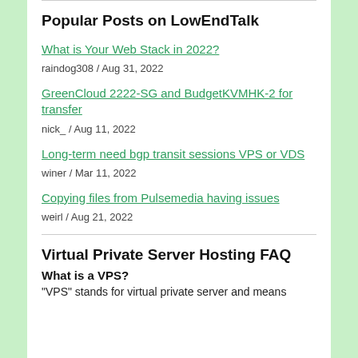Popular Posts on LowEndTalk
What is Your Web Stack in 2022?
raindog308 / Aug 31, 2022
GreenCloud 2222-SG and BudgetKVMHK-2 for transfer
nick_ / Aug 11, 2022
Long-term need bgp transit sessions VPS or VDS
winer / Mar 11, 2022
Copying files from Pulsemedia having issues
weirl / Aug 21, 2022
Virtual Private Server Hosting FAQ
What is a VPS?
"VPS" stands for virtual private server and means